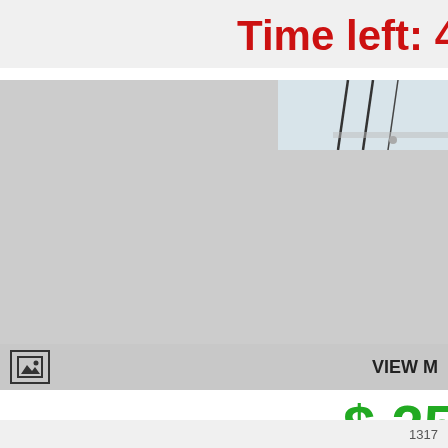Time left: 4
[Figure (photo): Partial property/auction listing image showing a building with glass windows in the top-right corner, main area shows a large gray placeholder image area with a view photos button and photo icon at the bottom]
VIEW M
$ 25
1317